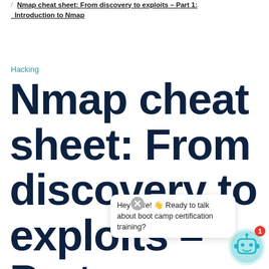/ Nmap cheat sheet: From discovery to exploits – Part 1: Introduction to Nmap
Hacking
Nmap cheat sheet: From discovery to exploits – Part 1: Introduction to Nmap
[Figure (other): Chatbot popup overlay with message: Hey there! 👋 Ready to talk about boot camp certification training?]